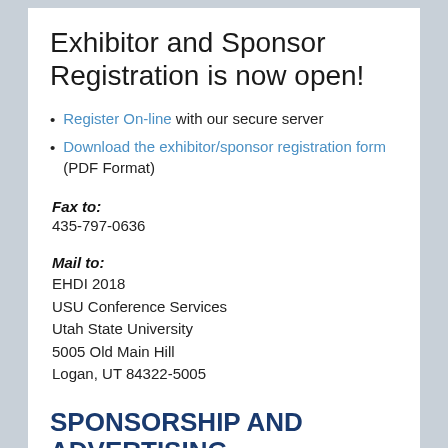Exhibitor and Sponsor Registration is now open!
Register On-line with our secure server
Download the exhibitor/sponsor registration form (PDF Format)
Fax to:
435-797-0636
Mail to:
EHDI 2018
USU Conference Services
Utah State University
5005 Old Main Hill
Logan, UT 84322-5005
SPONSORSHIP AND ADVERTISING OPPORTUNITIES
To discover the opportunities and benefits of